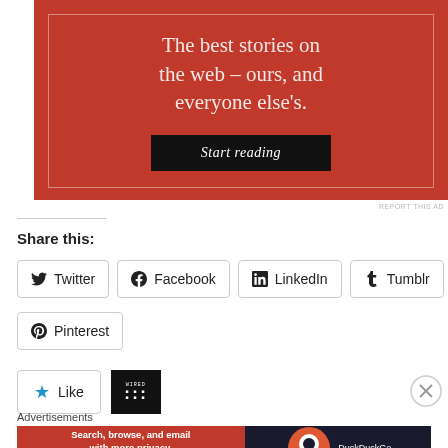[Figure (infographic): Red advertisement banner with white serif text reading 'The best stories on the web – ours, and everyone else's.' with a black 'Start reading' button]
REPORT THIS AD
Share this:
Twitter  Facebook  LinkedIn  Tumblr  Pinterest
Like
[Figure (logo): Wired magazine logo on black background]
Advertisements
[Figure (infographic): DuckDuckGo advertisement: Search, browse, and email with more privacy. All in One Free App]